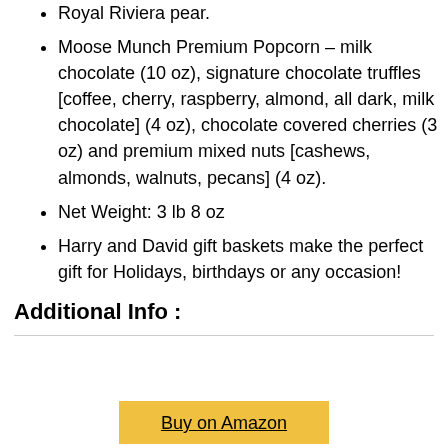Royal Riviera pear.
Moose Munch Premium Popcorn – milk chocolate (10 oz), signature chocolate truffles [coffee, cherry, raspberry, almond, all dark, milk chocolate] (4 oz), chocolate covered cherries (3 oz) and premium mixed nuts [cashews, almonds, walnuts, pecans] (4 oz).
Net Weight: 3 lb 8 oz
Harry and David gift baskets make the perfect gift for Holidays, birthdays or any occasion!
Additional Info :
Buy on Amazon